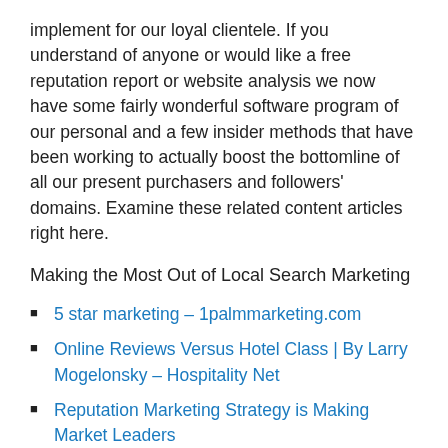implement for our loyal clientele. If you understand of anyone or would like a free reputation report or website analysis we now have some fairly wonderful software program of our personal and a few insider methods that have been working to actually boost the bottomline of all our present purchasers and followers' domains. Examine these related content articles right here.
Making the Most Out of Local Search Marketing
5 star marketing – 1palmmarketing.com
Online Reviews Versus Hotel Class | By Larry Mogelonsky – Hospitality Net
Reputation Marketing Strategy is Making Market Leaders
RentPath Apartment Guide Releases Review API (Reputation.com)